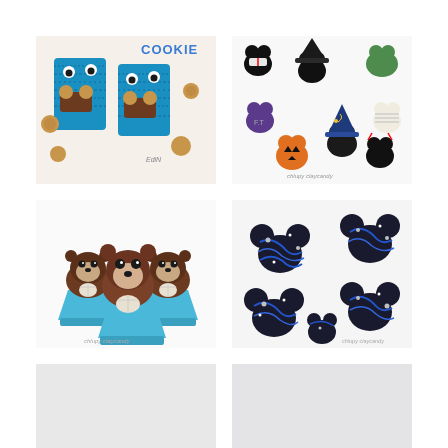[Figure (photo): Cookie Monster themed rice crispy treats bars, blue and furry-textured, with googly eyes and cookie sandwich mouths, surrounded by round cookies on white background. Text reads COOKIE at top.]
[Figure (photo): Assorted Disney Mickey Mouse head shaped fondant/clay decorations in Halloween costumes: pirate, witch with hat, Frankenstein, mummy, pumpkin, sorcerer with blue wizard hat, and devil, on white background.]
[Figure (photo): Three chocolate sea otter figurines sitting in blue cupcake paper cups, each holding a white shell, detailed brown chocolate sculpts on white background.]
[Figure (photo): Multiple Mickey Mouse head shaped dark chocolate cookies decorated with blue icing drizzles and silver/white star sprinkles on a white background, galaxy/night sky theme.]
[Figure (photo): Partially visible image in bottom-left cell, mostly light gray/white, content unclear.]
[Figure (photo): Partially visible image in bottom-right cell, mostly light gray/white, content unclear.]